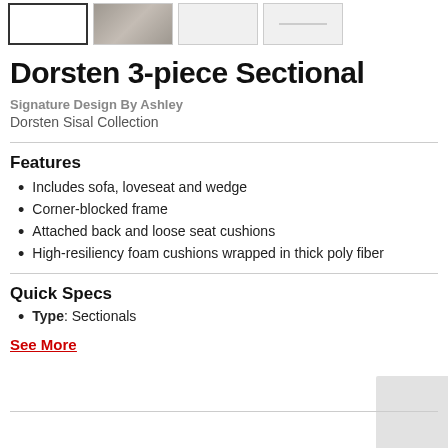[Figure (other): Row of four product thumbnail images for the Dorsten 3-piece Sectional. First thumbnail is selected (bordered), second shows a photo of the sofa, third and fourth are lighter placeholders.]
Dorsten 3-piece Sectional
Signature Design By Ashley
Dorsten Sisal Collection
Features
Includes sofa, loveseat and wedge
Corner-blocked frame
Attached back and loose seat cushions
High-resiliency foam cushions wrapped in thick poly fiber
Quick Specs
Type: Sectionals
See More